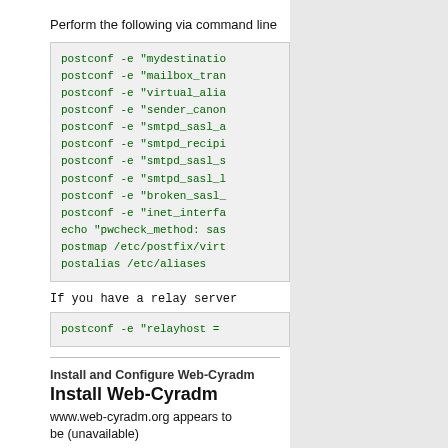Perform the following via command line
postconf -e "mydestinatio
postconf -e "mailbox_tran
postconf -e "virtual_alia
postconf -e "sender_canon
postconf -e "smtpd_sasl_a
postconf -e "smtpd_recipi
postconf -e "smtpd_sasl_s
postconf -e "smtpd_sasl_l
postconf -e "broken_sasl_
postconf -e "inet_interfa
echo "pwcheck_method: sas
postmap /etc/postfix/virt
postalias /etc/aliases
If you have a relay server
postconf -e "relayhost =
Install and Configure Web-Cyradm
Install Web-Cyradm
www.web-cyradm.org appears to be (unavailable)